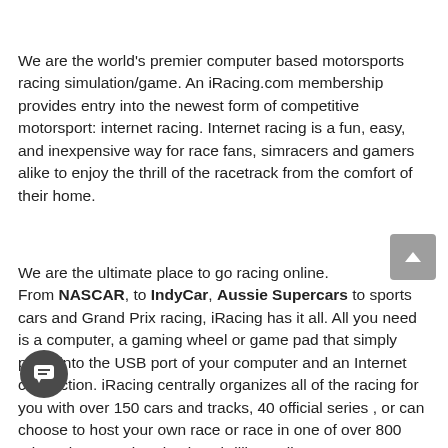We are the world's premier computer based motorsports racing simulation/game. An iRacing.com membership provides entry into the newest form of competitive motorsport: internet racing. Internet racing is a fun, easy, and inexpensive way for race fans, simracers and gamers alike to enjoy the thrill of the racetrack from the comfort of their home.
We are the ultimate place to go racing online. From NASCAR, to IndyCar, Aussie Supercars to sports cars and Grand Prix racing, iRacing has it all. All you need is a computer, a gaming wheel or game pad that simply plugs into the USB port of your computer and an Internet connection. iRacing centrally organizes all of the racing for you with over 150 cars and tracks, 40 official series , or can choose to host your own race or race in one of over 800 private leagues. iRacing is a thrilling online